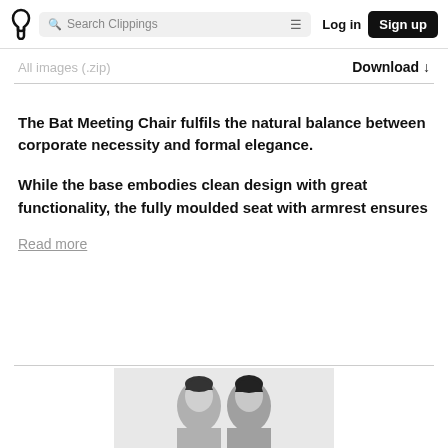Search Clippings | Log in | Sign up
All images (.zip)   Download ↓
The Bat Meeting Chair fulfils the natural balance between corporate necessity and formal elegance.

While the base embodies clean design with great functionality, the fully moulded seat with armrest ensures
Read more
[Figure (photo): Two people shown from shoulders up, black and white headshots side by side]